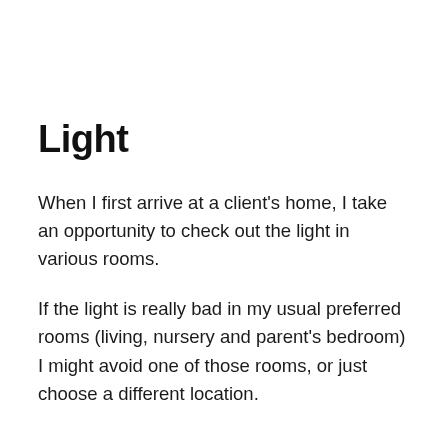Light
When I first arrive at a client's home, I take an opportunity to check out the light in various rooms.
If the light is really bad in my usual preferred rooms (living, nursery and parent's bedroom) I might avoid one of those rooms, or just choose a different location.